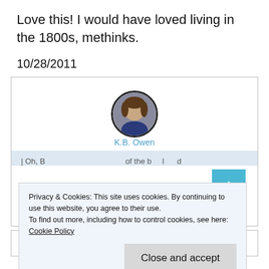Love this! I would have loved living in the 1800s, methinks.
10/28/2011
[Figure (photo): Circular avatar photo of a woman with brown hair, wearing a dark blue top, centered in a card with the name K.B. Owen below it in blue text.]
K.B. Owen
Privacy & Cookies: This site uses cookies. By continuing to use this website, you agree to their use.
To find out more, including how to control cookies, see here: Cookie Policy
Close and accept